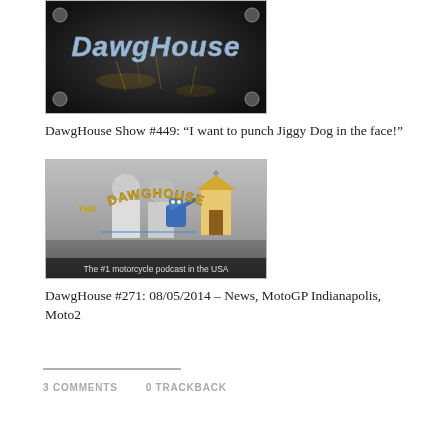[Figure (screenshot): DawgHouse Show logo image with metallic dark background and glowing text 'DawgHouse']
DawgHouse Show #449: “I want to punch Jiggy Dog in the face!”
[Figure (screenshot): DawgHouse podcast image showing characters and text 'The #1 motorcycle podcast in the USA']
DawgHouse #271: 08/05/2014 – News, MotoGP Indianapolis, Moto2
3 COMMENTS   0 TRACKBACK